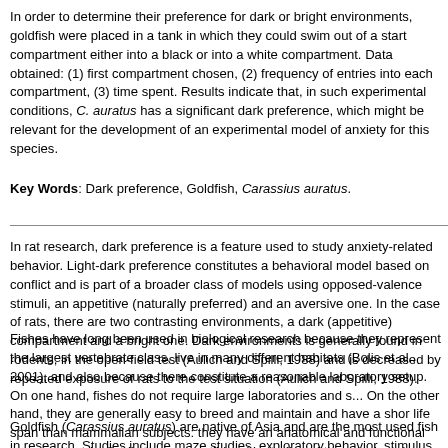In order to determine their preference for dark or bright environments, goldfish were placed in a tank in which they could swim out of a start compartment either into a black or into a white compartment. Data obtained: (1) first compartment chosen, (2) frequency of entries into each compartment, (3) time spent. Results indicate that, in such experimental conditions, C. auratus has a significant dark preference, which might be relevant for the development of an experimental model of anxiety for this species.
Key Words: Dark preference, Goldfish, Carassius auratus.
In rat research, dark preference is a feature used to study anxiety-related behavior. Light-dark preference constitutes a behavioral model based on conflict and is part of a broader class of models using opposed-valence stimuli, an appetitive (naturally preferred) and an aversive one. In the case of rats, there are two contrasting environments, a dark (appetitive) compartment and a bright one. Dark environments is generally found in rodents, in the open-field test (Aulich and Spilli, 1988) and is decreased by repeated exposure of rats to the test situation (Aulich and Spilli, 1988).
Fishes have long been used in biological research because they represent the largest vertebrate class, live in many different habitats (Bolis et al., 2001), and also because there constitute a reasonable laboratory setup. On one hand, fishes do not require large laboratories and s... On the other hand, they are generally easy to breed and maintain and have a shor life span than mammalian subjects: they have an anatomical and functional monoaminergic distribution compatible with studies of the principal drugs used in anxiety therapy (Kah and Chambolle, 1...
Goldfish (Carassius auratus) are native of Asia and are the most used fish in research. Studies include maze studies, exploratory behavior, stimulus matching and other behavioral and pharmacological variables. (Matis et al., 1974; Manteifel and Carelina, 1996...